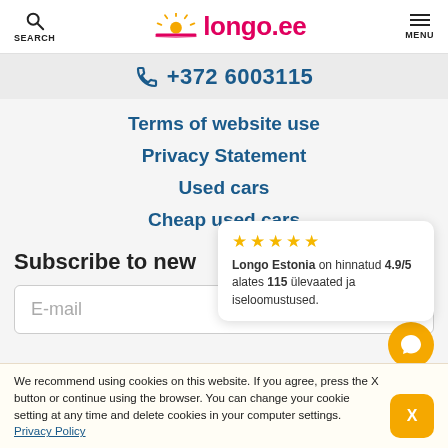SEARCH | longo.ee | MENU
+372 6003115
Terms of website use
Privacy Statement
Used cars
Cheap used cars
[Figure (other): Rating popup: 5 gold stars, Longo Estonia on hinnatud 4.9/5 alates 115 ülevaated ja iseloomustused.]
Subscribe to new
E-mail
We recommend using cookies on this website. If you agree, press the X button or continue using the browser. You can change your cookie setting at any time and delete cookies in your computer settings. Privacy Policy